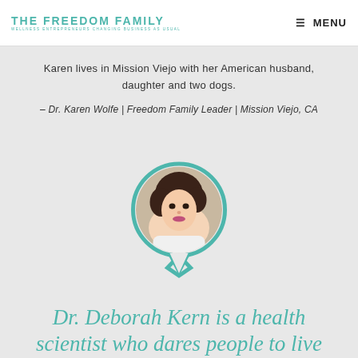THE FREEDOM FAMILY | WELLNESS ENTREPRENEURS CHANGING BUSINESS AS USUAL | MENU
Karen lives in Mission Viejo with her American husband, daughter and two dogs.
– Dr. Karen Wolfe | Freedom Family Leader | Mission Viejo, CA
[Figure (photo): Circular portrait photo of Dr. Deborah Kern with teal border bubble shape]
Dr. Deborah Kern is a health scientist who dares people to live